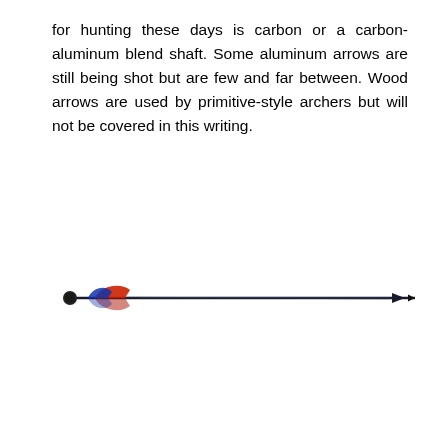for hunting these days is carbon or a carbon-aluminum blend shaft. Some aluminum arrows are still being shot but are few and far between. Wood arrows are used by primitive-style archers but will not be covered in this writing.
[Figure (illustration): A detailed illustration of an arrow shown horizontally. The arrow points to the right, with a dark pointed tip (arrowhead) on the right end, a long dark shaft running across most of the width, and fletching (vanes) visible on the left side — one red vane and one blue/dark vane — along with a small dark nock area at the far left.]